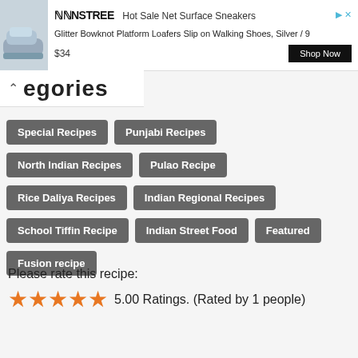[Figure (screenshot): Advertisement banner for NINSTREE Hot Sale Net Surface Sneakers showing shoe image, product title 'Glitter Bowknot Platform Loafers Slip on Walking Shoes, Silver / 9', price $34, and Shop Now button]
Categories
Special Recipes
Punjabi Recipes
North Indian Recipes
Pulao Recipe
Rice Daliya Recipes
Indian Regional Recipes
School Tiffin Recipe
Indian Street Food
Featured
Fusion recipe
Please rate this recipe:
5.00 Ratings. (Rated by 1 people)